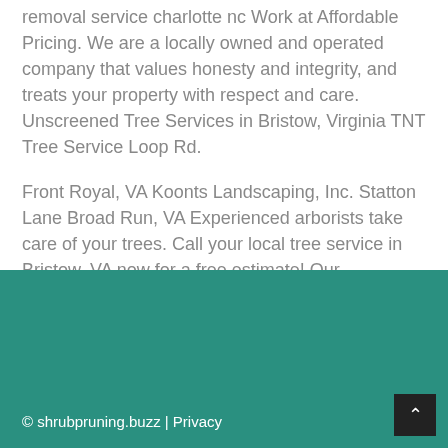removal service charlotte nc Work at Affordable Pricing. We are a locally owned and operated company that values honesty and integrity, and treats your property with respect and care. Unscreened Tree Services in Bristow, Virginia TNT Tree Service Loop Rd.
Front Royal, VA Koonts Landscaping, Inc. Statton Lane Broad Run, VA Experienced arborists take care of your trees. Call your local tree service in Bristow, VA now for a free estimate! Our professionally trained and highly experienced arborists in Bristow will evaluate the condition of your trees and determine the type of pruning services they shrubpruning.buzz will prune structurally weak trees to increase their robustness and health.
© shrubpruning.buzz | Privacy